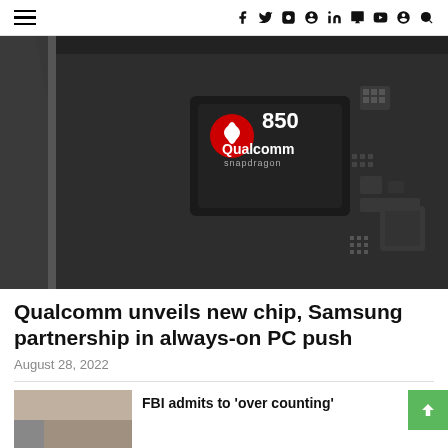Navigation header with hamburger menu and social icons (f, Twitter, Instagram, Pinterest, LinkedIn, Tumblr, YouTube, Snapchat, Search)
[Figure (photo): Close-up photo of a Qualcomm Snapdragon 850 chip on a dark circuit board]
Qualcomm unveils new chip, Samsung partnership in always-on PC push
August 28, 2022
[Figure (photo): Thumbnail image partially visible at bottom left]
FBI admits to 'over counting'